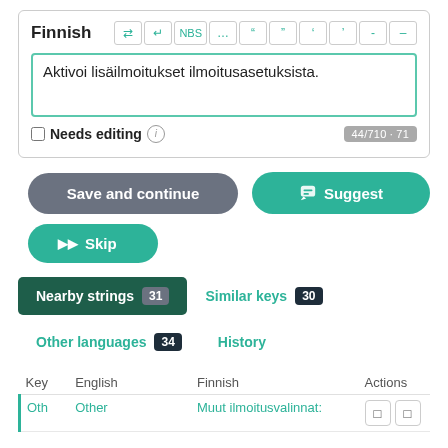Finnish
Aktivoi lisäilmoitukset ilmoitusasetuksista.
Needs editing  44/710 · 71
Save and continue
Suggest
Skip
Nearby strings 31  Similar keys 30
Other languages 34  History
| Key | English | Finnish | Actions |
| --- | --- | --- | --- |
| Oth | Other | Muut ilmoitusvalinnat: | ⧉ ⧉ |